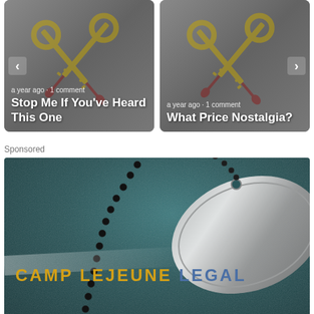[Figure (screenshot): Two article preview cards side by side with crossed keys/swords imagery in gray background. Left card: 'a year ago · 1 comment' with title 'Stop Me If You've Heard This One'. Right card: 'a year ago · 1 comment' with title 'What Price Nostalgia?'. Navigation arrows on left and right edges.]
Sponsored
[Figure (photo): Advertisement image showing a military dog tag on a ball chain against a dark teal textured background with the text 'CAMP LEJEUNE LEGAL' where 'CAMP LEJEUNE' is in gold/yellow and 'LEGAL' is in blue, with a light ray effect across the bottom portion.]